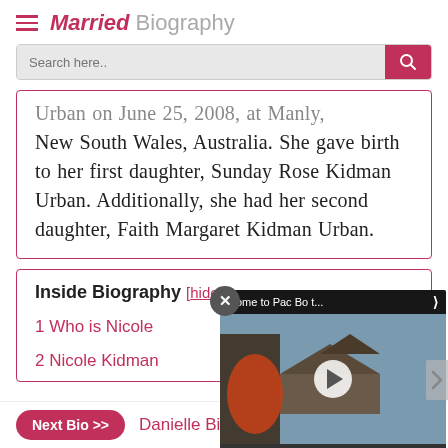Married Biography
Urban on June 25, 2008, at Manly, New South Wales, Australia. She gave birth to her first daughter, Sunday Rose Kidman Urban. Additionally, she had her second daughter, Faith Margaret Kidman Urban.
Inside Biography [hide]
1 Who is Nicole
2 Nicole Kidman
[Figure (screenshot): Video overlay showing 'Come to Pac Bo t...' with play button and temple/roof image in background]
Next Bio >> Danielle Bi